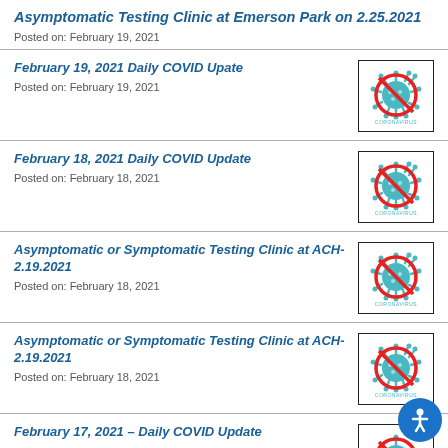Asymptomatic Testing Clinic at Emerson Park on 2.25.2021
Posted on: February 19, 2021
February 19, 2021 Daily COVID Upate
Posted on: February 19, 2021
[Figure (illustration): Coronavirus no-symbol icon with red circle and slash over teal coronavirus illustration, text CORONAVIRUS below]
February 18, 2021 Daily COVID Update
Posted on: February 18, 2021
[Figure (illustration): Coronavirus no-symbol icon with red circle and slash over teal coronavirus illustration, text CORONAVIRUS below]
Asymptomatic or Symptomatic Testing Clinic at ACH- 2.19.2021
Posted on: February 18, 2021
[Figure (illustration): Coronavirus no-symbol icon with red circle and slash over teal coronavirus illustration, text CORONAVIRUS below]
Asymptomatic or Symptomatic Testing Clinic at ACH- 2.19.2021
Posted on: February 18, 2021
[Figure (illustration): Coronavirus no-symbol icon with red circle and slash over teal coronavirus illustration, text CORONAVIRUS below]
February 17, 2021 – Daily COVID Update
[Figure (illustration): Coronavirus no-symbol icon (partially visible)]